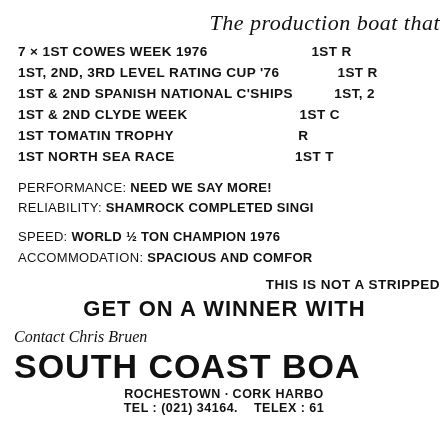The production boat that
7 × 1st COWES WEEK 1976
1st, 2nd, 3rd LEVEL RATING CUP '76
1st & 2nd SPANISH NATIONAL C'SHIPS
1st & 2nd CLYDE WEEK
1st TOMATIN TROPHY
1st NORTH SEA RACE
1st R
1st R
1st, 2
1st C
R
1st T
PERFORMANCE: NEED WE SAY MORE!
RELIABILITY: SHAMROCK COMPLETED SINGI
SPEED: WORLD ½ TON CHAMPION 1976
ACCOMMODATION: SPACIOUS AND COMFOR
THIS IS NOT A STRIPPED
GET ON A WINNER WITH
Contact Chris Bruen
SOUTH COAST BOA
ROCHESTOWN · CORK HARBO
Tel: (021) 34164.   Telex: 61